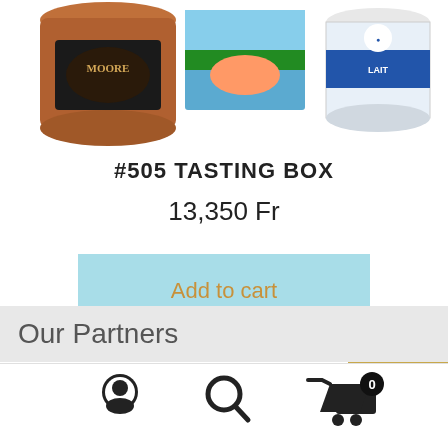[Figure (photo): Product image showing jars and packages of food items including a jar with 'Moore' label, a tropical scene package, and a can with blue/white label]
#505 TASTING BOX
13,350 Fr
Add to cart
USD $
XPF Fr
EUR €
Our Partners
[Figure (illustration): Bottom navigation bar with user account icon, search icon, and shopping cart icon with badge showing 0]